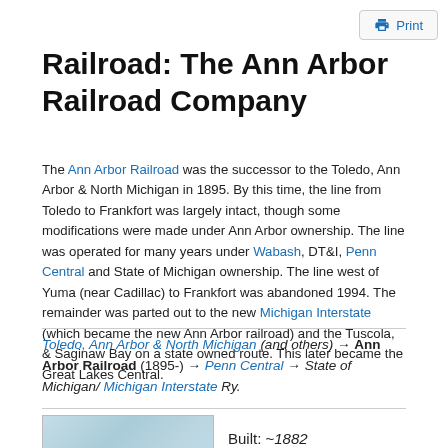Print
Railroad: The Ann Arbor Railroad Company
The Ann Arbor Railroad was the successor to the Toledo, Ann Arbor & North Michigan in 1895. By this time, the line from Toledo to Frankfort was largely intact, though some modifications were made under Ann Arbor ownership. The line was operated for many years under Wabash, DT&I, Penn Central and State of Michigan ownership. The line west of Yuma (near Cadillac) to Frankfort was abandoned 1994. The remainder was parted out to the new Michigan Interstate (which became the new Ann Arbor railroad) and the Tuscola, & Saginaw Bay on a state owned route. This later became the Great Lakes Central.
Toledo, Ann Arbor & North Michigan (and others) → Ann Arbor Railroad (1895-) → Penn Central → State of Michigan/ Michigan Interstate Ry.
[Figure (map): Partial map showing a railroad route in blue on a light blue background]
Built: ~1882